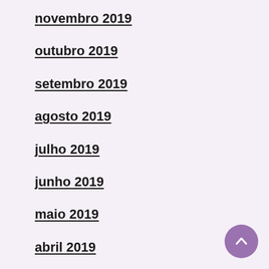novembro 2019
outubro 2019
setembro 2019
agosto 2019
julho 2019
junho 2019
maio 2019
abril 2019
março 2019
fevereiro 2019